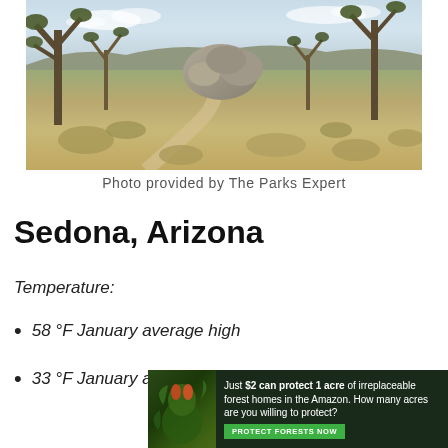[Figure (photo): Desert landscape with Joshua trees and large rocky boulders under a partly cloudy sky. Sparse dry brush covers the ground.]
Photo provided by The Parks Expert
Sedona, Arizona
Temperature:
58 °F January average high
33 °F January average low
[Figure (photo): Advertisement banner: Just $2 can protect 1 acre of irreplaceable forest homes in the Amazon. How many acres are you willing to protect? PROTECT FORESTS NOW]